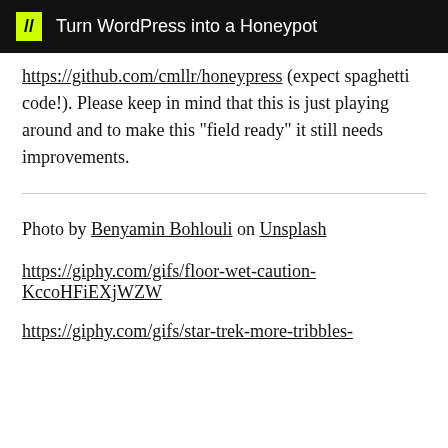// Turn WordPress into a Honeypot
https://github.com/cmllr/honeypress (expect spaghetti code!). Please keep in mind that this is just playing around and to make this "field ready" it still needs improvements.
Photo by Benyamin Bohlouli on Unsplash
https://giphy.com/gifs/floor-wet-caution-KccoHFiEXjWZW
https://giphy.com/gifs/star-trek-more-tribbles-